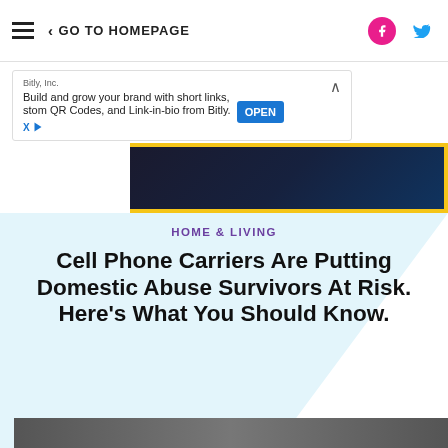≡  < GO TO HOMEPAGE
[Figure (screenshot): Ad banner from Bitly Inc: 'Build and grow your brand with short links, custom QR Codes, and Link-in-bio from Bitly.' with OPEN button]
[Figure (photo): Partial top image strip showing dark blue device screen with yellow border]
HOME & LIVING
Cell Phone Carriers Are Putting Domestic Abuse Survivors At Risk. Here's What You Should Know.
[Figure (photo): Black and white photo showing a woman resembling Marilyn Monroe flanked by two men in suits]